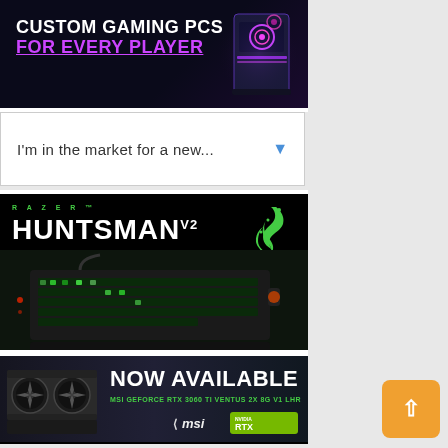[Figure (illustration): Custom Gaming PCs advertisement banner with dark purple/black background, glowing PC tower with RGB lighting on right, white bold text 'CUSTOM GAMING PCS FOR EVERY PLAYER' where 'EVERY PLAYER' is in purple/violet color]
[Figure (screenshot): Dropdown selector widget with white background, text 'I'm in the market for a new...' with a blue dropdown arrow on the right]
[Figure (illustration): Razer Huntsman V2 keyboard advertisement. Black background, green 'RAZER' brand text, large white 'HUNTSMAN V2' title, green Razer snake logo top right, backlit mechanical keyboard photo in center, tagline 'NO FRILLS. ALL PERFORMANCE.' in white bold text, green 'BUY NOW' button at bottom]
[Figure (illustration): MSI GeForce RTX 3060 Ti Ventus 2X 8G V1 LHR GPU advertisement. Dark background, GPU card image on left, 'NOW AVAILABLE' in large white text, green product name text, MSI and NVIDIA RTX logos at bottom right]
[Figure (illustration): Partial bottom banner showing 'EUROPEAN' and 'LIQUID' text with gaming PC imagery, partially cut off]